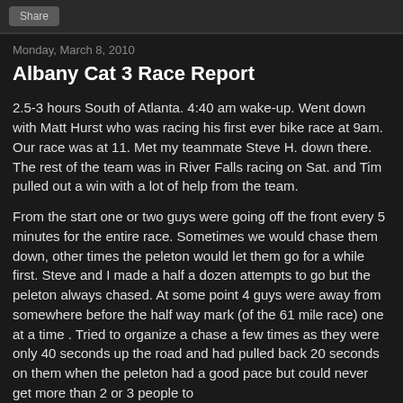Share
Monday, March 8, 2010
Albany Cat 3 Race Report
2.5-3 hours South of Atlanta. 4:40 am wake-up. Went down with Matt Hurst who was racing his first ever bike race at 9am. Our race was at 11. Met my teammate Steve H. down there. The rest of the team was in River Falls racing on Sat. and Tim pulled out a win with a lot of help from the team.
From the start one or two guys were going off the front every 5 minutes for the entire race. Sometimes we would chase them down, other times the peleton would let them go for a while first. Steve and I made a half a dozen attempts to go but the peleton always chased. At some point 4 guys were away from somewhere before the half way mark (of the 61 mile race) one at a time . Tried to organize a chase a few times as they were only 40 seconds up the road and had pulled back 20 seconds on them when the peleton had a good pace but could never get more than 2 or 3 people to